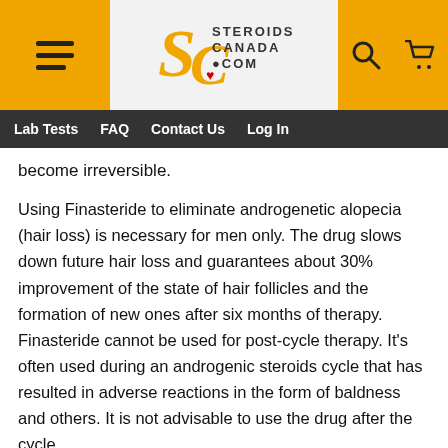[Figure (logo): Steroids Canada .com logo with hamburger menu, search icon, and cart icon in header]
Lab Tests  FAQ  Contact Us  Log In
become irreversible.
Using Finasteride to eliminate androgenetic alopecia (hair loss) is necessary for men only. The drug slows down future hair loss and guarantees about 30% improvement of the state of hair follicles and the formation of new ones after six months of therapy. Finasteride cannot be used for post-cycle therapy. It's often used during an androgenic steroids cycle that has resulted in adverse reactions in the form of baldness and others. It is not advisable to use the drug after the cycle.